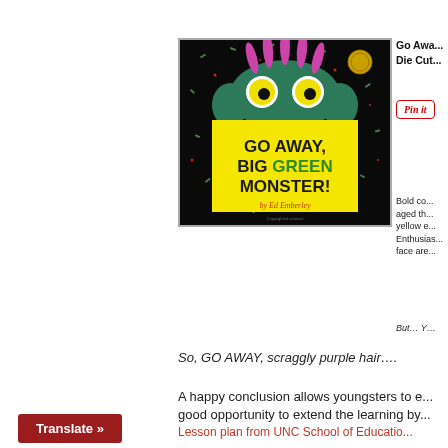[Figure (photo): Book cover of 'Go Away, Big Green Monster!' by Ed Emberley showing a green monster with yellow eyes and purple hair on a black background, with a large yellow square displaying the title text]
Go Away, Big Green Monster! Die Cut...
[Figure (other): Pinterest 'Pin it' button]
Bold co... aged th... yellow e... Enthusias... face are...
But... Y...
So, GO AWAY, scraggly purple hair….
A happy conclusion allows youngsters to e... good opportunity to extend the learning by...
Lesson plan from UNC School of Educatio...
Translate »